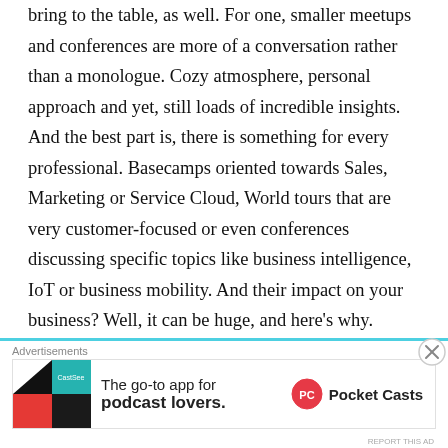bring to the table, as well. For one, smaller meetups and conferences are more of a conversation rather than a monologue. Cozy atmosphere, personal approach and yet, still loads of incredible insights. And the best part is, there is something for every professional. Basecamps oriented towards Sales, Marketing or Service Cloud, World tours that are very customer-focused or even conferences discussing specific topics like business intelligence, IoT or business mobility. And their impact on your business? Well, it can be huge, and here's why.
[Figure (other): Advertisement banner for Pocket Casts app: 'The go-to app for podcast lovers.' with Pocket Casts logo]